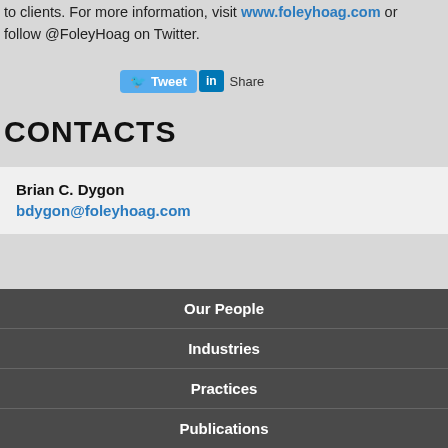to clients. For more information, visit www.foleyhoag.com or follow @FoleyHoag on Twitter.
[Figure (other): Social media buttons: Tweet (Twitter) and Share (LinkedIn)]
CONTACTS
Brian C. Dygon
bdygon@foleyhoag.com
Our People | Industries | Practices | Publications